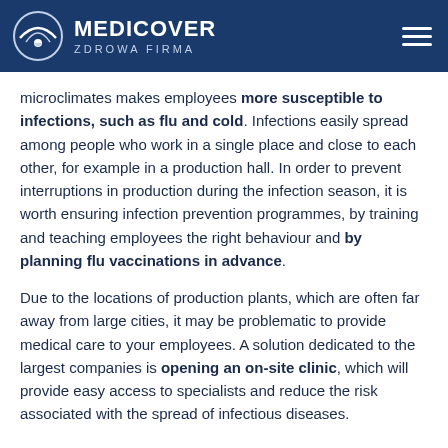MEDICOVER ZDROWA FIRMA
microclimates makes employees more susceptible to infections, such as flu and cold. Infections easily spread among people who work in a single place and close to each other, for example in a production hall. In order to prevent interruptions in production during the infection season, it is worth ensuring infection prevention programmes, by training and teaching employees the right behaviour and by planning flu vaccinations in advance.
Due to the locations of production plants, which are often far away from large cities, it may be problematic to provide medical care to your employees. A solution dedicated to the largest companies is opening an on-site clinic, which will provide easy access to specialists and reduce the risk associated with the spread of infectious diseases.